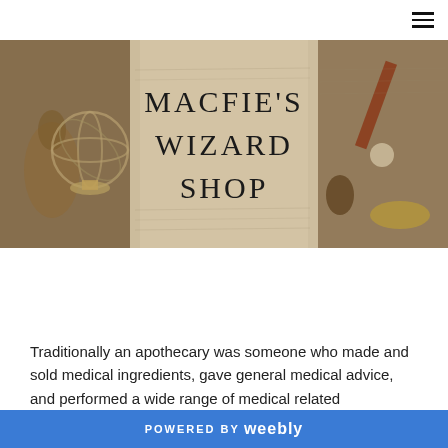≡ (hamburger menu icon)
[Figure (photo): Banner image for Macfie's Wizard Shop showing antique objects including an armillary sphere, ceramic vase, telescope, maps and brass instruments on a parchment-toned background with large serif text reading MACFIE'S WIZARD SHOP]
APOTHECARY HISTORY
Apothecary Sets
Traditionally an apothecary was someone who made and sold medical ingredients, gave general medical advice, and performed a wide range of medical related
POWERED BY weebly